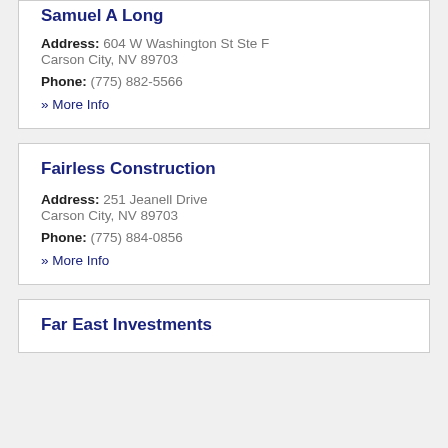Samuel A Long
Address: 604 W Washington St Ste F Carson City, NV 89703
Phone: (775) 882-5566
» More Info
Fairless Construction
Address: 251 Jeanell Drive Carson City, NV 89703
Phone: (775) 884-0856
» More Info
Far East Investments